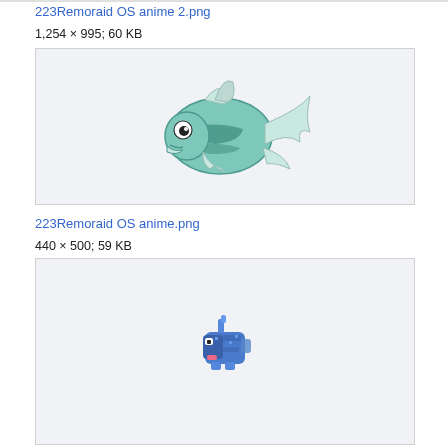223Remoraid OS anime 2.png
1,254 × 995; 60 KB
[Figure (illustration): Remoraid OS anime 2 - a cartoon fish (Remoraid) illustrated in teal/green colors with fins and a round body, facing left]
223Remoraid OS anime.png
440 × 500; 59 KB
[Figure (illustration): Remoraid OS anime - a small pixel-art style blue Remoraid character sprite]